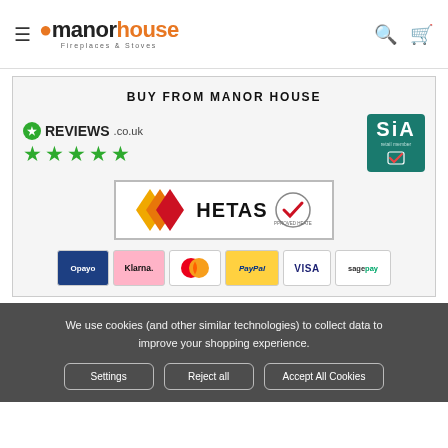Manor House Fireplaces & Stoves — navigation header with search and basket icons
BUY FROM MANOR HOUSE
[Figure (logo): Reviews.co.uk logo with 5 green stars rating]
[Figure (logo): SIA retail member badge]
[Figure (logo): HETAS approved heater logo]
[Figure (logo): Payment method logos: Opayo, Klarna, MasterCard, PayPal, VISA, SagePay]
We use cookies (and other similar technologies) to collect data to improve your shopping experience.
Settings  Reject all  Accept All Cookies